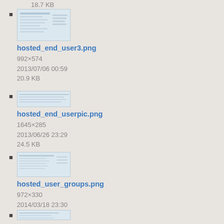18.7 KB
hosted_end_user3.png
992×574
2013/07/06 00:59
20.9 KB
hosted_end_userpic.png
1645×285
2013/06/26 23:29
24.5 KB
hosted_user_groups.png
972×330
2014/03/18 23:30
11.6 KB
hosted_user_report_image.png